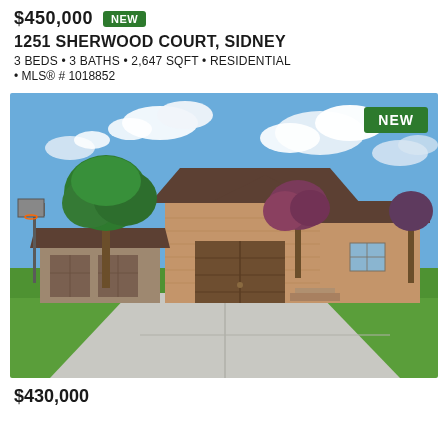$450,000  NEW
1251 SHERWOOD COURT, SIDNEY
3 BEDS • 3 BATHS • 2,647 SQFT • RESIDENTIAL
• MLS® # 1018852
[Figure (photo): Exterior photo of a single-story brick ranch home with two-car garage, large concrete driveway, green lawn, mature trees, and a basketball hoop visible to the left. A 'NEW' badge is displayed in the upper right corner of the photo. Blue sky with white clouds in background.]
$430,000